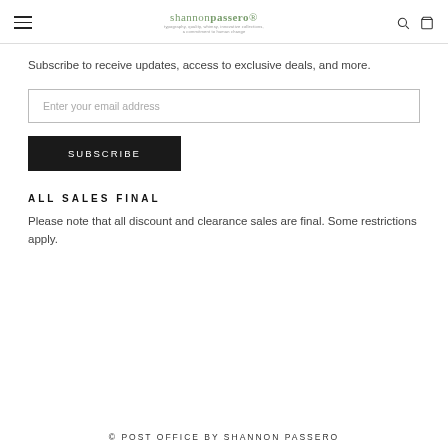shannonpassero® — typography, quality, whimsy, innovative collections, a commitment to human change
Subscribe to receive updates, access to exclusive deals, and more.
Enter your email address
SUBSCRIBE
ALL SALES FINAL
Please note that all discount and clearance sales are final. Some restrictions apply.
© POST OFFICE BY SHANNON PASSERO